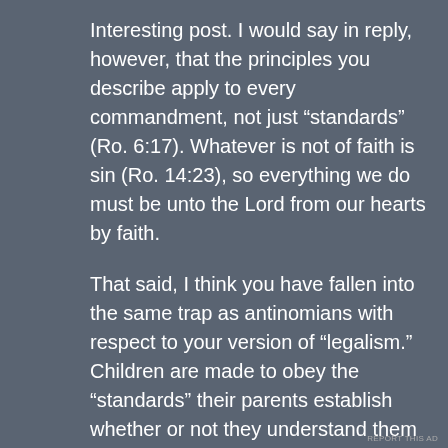Interesting post. I would say in reply, however, that the principles you describe apply to every commandment, not just “standards” (Ro. 6:17). Whatever is not of faith is sin (Ro. 14:23), so everything we do must be unto the Lord from our hearts by faith.

That said, I think you have fallen into the same trap as antinomians with respect to your version of “legalism.” Children are made to obey the “standards” their parents establish whether or not they understand them and whether or not they agree with them. Many standards are common in every household and many of them, perhaps, are
[Figure (other): Close/dismiss button (circled X icon) in the bottom-right area of the comment box]